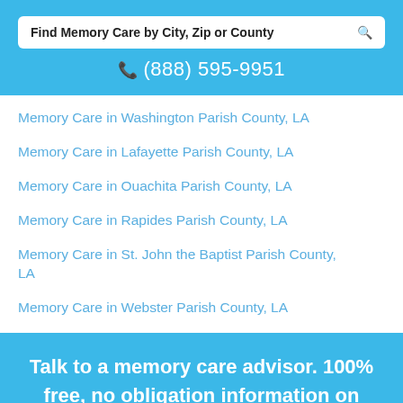Find Memory Care by City, Zip or County
📱 (888) 595-9951
Memory Care in Washington Parish County, LA
Memory Care in Lafayette Parish County, LA
Memory Care in Ouachita Parish County, LA
Memory Care in Rapides Parish County, LA
Memory Care in St. John the Baptist Parish County, LA
Memory Care in Webster Parish County, LA
Talk to a memory care advisor. 100% free, no obligation information on dementia & Alzheimer's care.